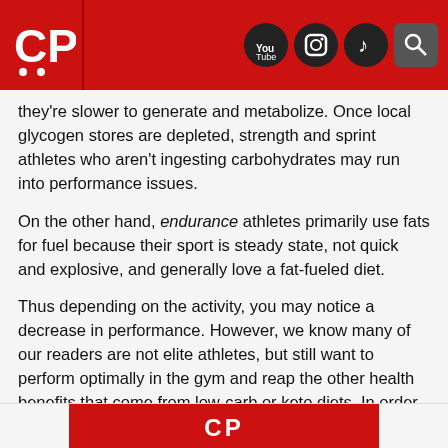CP logo and social media icons (YouTube, Instagram, TikTok, Search)
they're slower to generate and metabolize. Once local glycogen stores are depleted, strength and sprint athletes who aren't ingesting carbohydrates may run into performance issues.
On the other hand, endurance athletes primarily use fats for fuel because their sport is steady state, not quick and explosive, and generally love a fat-fueled diet.
Thus depending on the activity, you may notice a decrease in performance. However, we know many of our readers are not elite athletes, but still want to perform optimally in the gym and reap the other health benefits that come from low-carb or keto diets. In order to get the best of both worlds, many people supplement with MCT oil or powder because its a medium-chain fatty acid that can be quickly converted to ketones for fuel, as opposed to long-chain triglycerides which take longer to breakdown.
MCTs 101
[Figure (logo): CP logo banner at bottom of page]